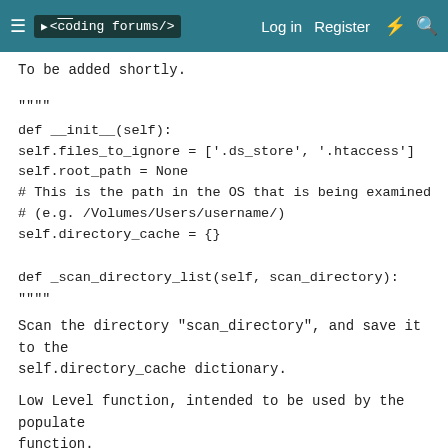≡  <coding forums/>   Log in   Register   ⚡  🔍
To be added shortly.
"""
def __init__(self):
self.files_to_ignore = ['.ds_store', '.htaccess']
self.root_path = None
# This is the path in the OS that is being examined
# (e.g. /Volumes/Users/username/)
self.directory_cache = {}
def _scan_directory_list(self, scan_directory):
"""
Scan the directory "scan_directory", and save it to the self.directory_cache dictionary.

Low Level function, intended to be used by the populate function.
"""
scan_directory = os.path.abspath(scan_directory)